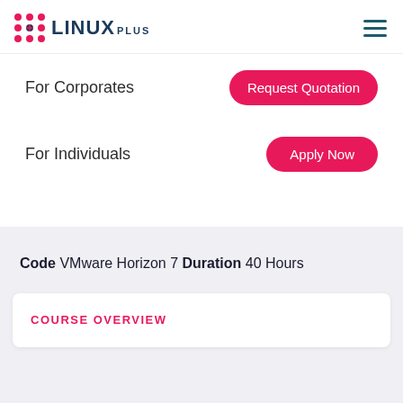[Figure (logo): Linux Plus logo with red dot grid icon and dark blue LINUX PLUS text]
For Corporates
Request Quotation
For Individuals
Apply Now
Code VMware Horizon 7 Duration 40 Hours
COURSE OVERVIEW